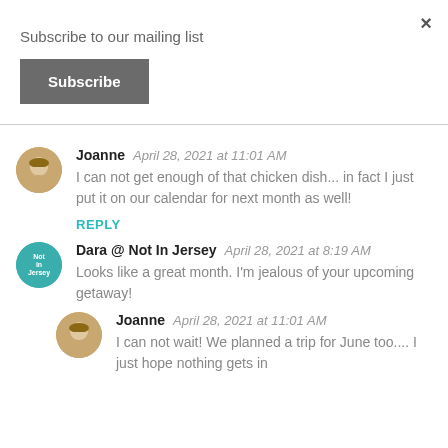Subscribe to our mailing list
Subscribe
×
Joanne   April 28, 2021 at 11:01 AM
I can not get enough of that chicken dish... in fact I just put it on our calendar for next month as well!
REPLY
Dara @ Not In Jersey   April 28, 2021 at 8:19 AM
Looks like a great month. I'm jealous of your upcoming getaway!
Joanne   April 28, 2021 at 11:01 AM
I can not wait! We planned a trip for June too.... I just hope nothing gets in